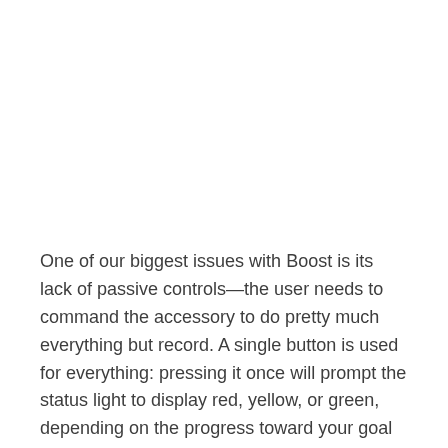One of our biggest issues with Boost is its lack of passive controls—the user needs to command the accessory to do pretty much everything but record. A single button is used for everything: pressing it once will prompt the status light to display red, yellow, or green, depending on the progress toward your goal that day. There's no time display.